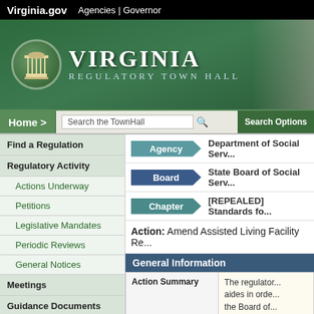Virginia.gov   Agencies | Governor
[Figure (screenshot): Virginia Regulatory Town Hall banner with state seal logo on green background]
Home >   Search the TownHall   Search Options
Agency  Department of Social Serv...
Board  State Board of Social Serv...
Chapter  [REPEALED] Standards fo...
Action:  Amend Assisted Living Facility Re...
General Information
|  |  |
| --- | --- |
| Action Summary | The regulator... aides in orde... the Board of... Professions.... Virginia. Othe... requirement f... facilities. The... shared admir... information, i... inspection re... few definition... clarity and re... |
Find a Regulation
Regulatory Activity
Actions Underway
Petitions
Legislative Mandates
Periodic Reviews
General Notices
Meetings
Guidance Documents